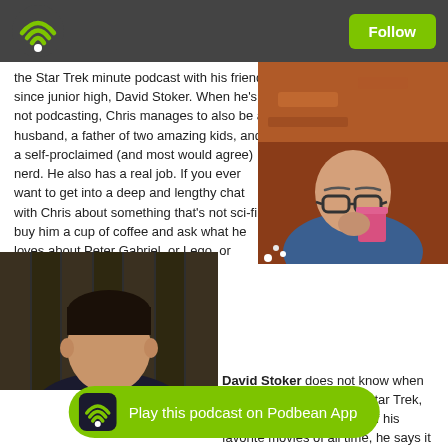Follow
the Star Trek minute podcast with his friend since junior high, David Stoker. When he's not podcasting, Chris manages to also be a husband, a father of two amazing kids, and a self-proclaimed (and most would agree) nerd. He also has a real job. If you ever want to get into a deep and lengthy chat with Chris about something that's not sci-fi, buy him a cup of coffee and ask what he loves about Peter Gabriel, or Lego, or Stephen King, or…
[Figure (photo): Man with glasses drinking from a pink cup outdoors with red dirt/rock background]
[Figure (photo): Portrait of David Stoker]
David Stoker does not know when he was first interested in Star Trek, but Wrath of Khan is one of his favorite movies of all time, he says it way too many times. David has known Chris for over 30
Play this podcast on Podbean App